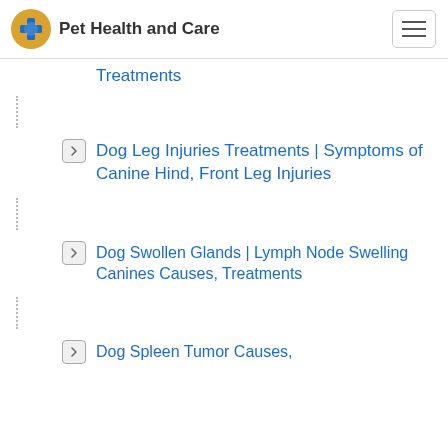Pet Health and Care
Treatments
Dog Leg Injuries Treatments | Symptoms of Canine Hind, Front Leg Injuries
Dog Swollen Glands | Lymph Node Swelling Canines Causes, Treatments
Dog Spleen Tumor Causes,